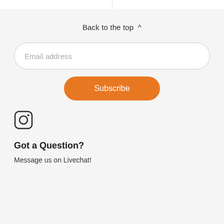Back to the top ^
Email address
Subscribe
[Figure (illustration): Instagram icon (rounded square with camera outline)]
Got a Question?
Message us on Livechat!